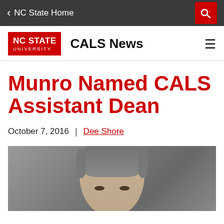NC State Home
[Figure (logo): NC State University logo in red box, followed by CALS News site title and hamburger menu]
Munro Named CALS Assistant Dean
October 7, 2016  |  Dee Shore
[Figure (photo): Headshot photo of a person with short gray hair against a gray background, cropped to show head and upper face]